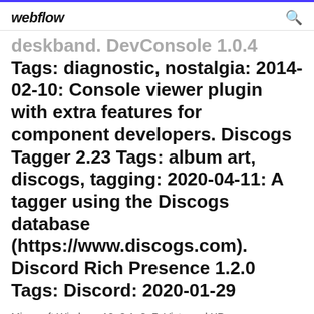webflow
deskband. DevConsole 1.0.4 Tags: diagnostic, nostalgia: 2014-02-10: Console viewer plugin with extra features for component developers. Discogs Tagger 2.23 Tags: album art, discogs, tagging: 2020-04-11: A tagger using the Discogs database (https://www.discogs.com). Discord Rich Presence 1.2.0 Tags: Discord: 2020-01-29
Microsoft Windows 10, 8.1, 8, 7, Vista and XP